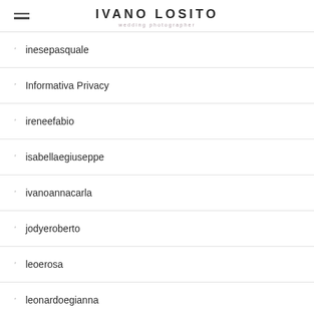IVANO LOSITO wedding photographer
inesepasquale
Informativa Privacy
ireneefabio
isabellaegiuseppe
ivanoannacarla
jodyeroberto
leoerosa
leonardoegianna
loredanaesebastiano
lorenzoealessia
luanaedonato